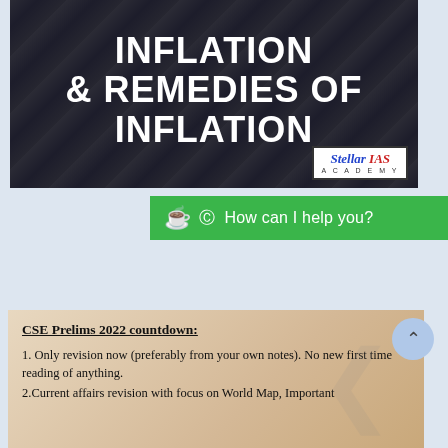[Figure (illustration): Dark cityscape banner with bold white text reading 'INFLATION & REMEDIES OF INFLATION' and Stellar IAS Academy logo in bottom right corner]
How can I help you?
CSE Prelims 2022 countdown:
1. Only revision now (preferably from your own notes). No new first time reading of anything.
2.Current affairs revision with focus on World Map, Important